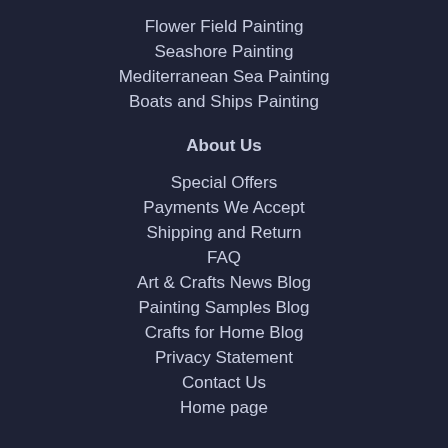Flower Field Painting
Seashore Painting
Mediterranean Sea Painting
Boats and Ships Painting
About Us
Special Offers
Payments We Accept
Shipping and Return
FAQ
Art & Crafts News Blog
Painting Samples Blog
Crafts for Home Blog
Privacy Statement
Contact Us
Home page